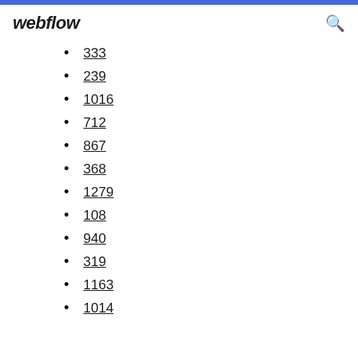webflow
333
239
1016
712
867
368
1279
108
940
319
1163
1014